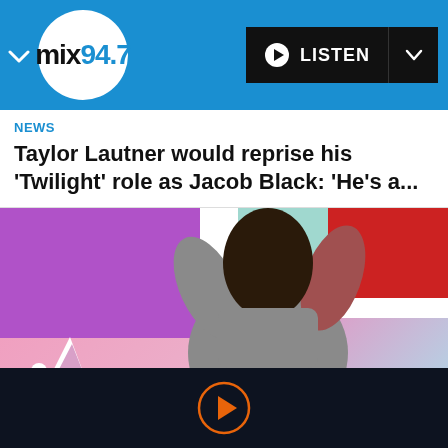[Figure (screenshot): mix94.7 radio station logo in white circle on blue header bar with LISTEN button]
NEWS
Taylor Lautner would reprise his 'Twilight' role as Jacob Black: 'He's a...
[Figure (photo): Colorful marketing image with purple, pink, red panels and a person in grey shirt with Adidas logo]
[Figure (other): Orange circular play button on dark navy footer bar]